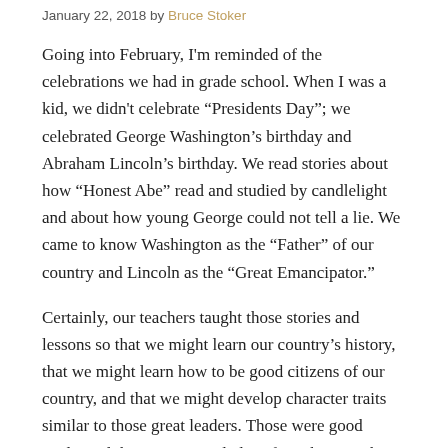January 22, 2018 by Bruce Stoker
Going into February, I'm reminded of the celebrations we had in grade school. When I was a kid, we didn't celebrate “Presidents Day”; we celebrated George Washington’s birthday and Abraham Lincoln’s birthday. We read stories about how “Honest Abe” read and studied by candlelight and about how young George could not tell a lie. We came to know Washington as the “Father” of our country and Lincoln as the “Great Emancipator.”
Certainly, our teachers taught those stories and lessons so that we might learn our country’s history, that we might learn how to be good citizens of our country, and that we might develop character traits similar to those great leaders. Those were good goals, and those were good plans for achieving those goals. Did we all learn the lessons well? Did we all